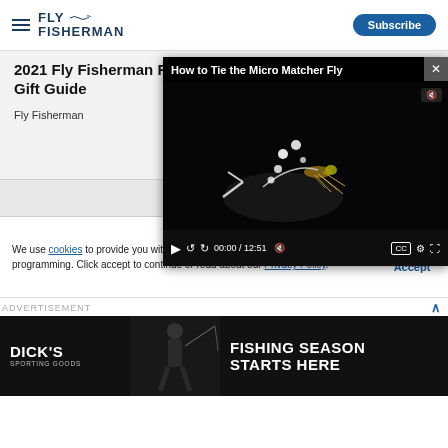FLY FISHERMAN — Subscribe
2021 Fly Fisherman Father's Day Gift Guide
Fly Fisherman
[Figure (screenshot): Video player showing 'How to Tie the Micro Matcher Fly' with a close-up of a fly fishing lure on a dark background. Controls show 00:00 / 12:51.]
We use cookies to provide you with the best experience in Outdoors programming. Click accept to continue or read about our Privacy Policy.
Advertisement
[Figure (photo): Dick's Sporting Goods advertisement banner: FISHING SEASON STARTS HERE with angler image.]